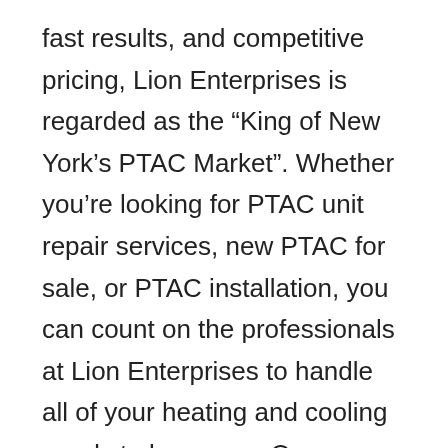fast results, and competitive pricing, Lion Enterprises is regarded as the “King of New York’s PTAC Market”. Whether you’re looking for PTAC unit repair services, new PTAC for sale, or PTAC installation, you can count on the professionals at Lion Enterprises to handle all of your heating and cooling needs to keep your Queens, NY property comfortable.
Packaged Terminal Air Conditioners (PTACs) are among the most common heating and